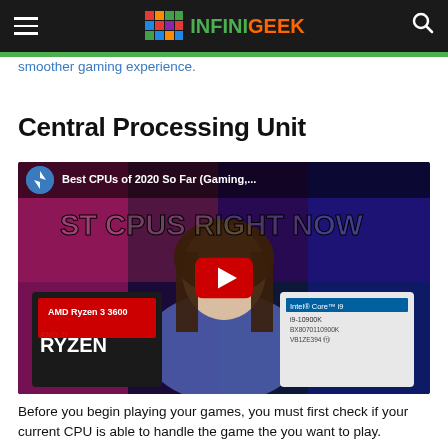INFINIGEEK
smoother gaming experience.
Central Processing Unit
[Figure (screenshot): YouTube video thumbnail showing 'Best CPUs of 2020 So Far (Gaming,...' with a person standing in front of AMD Ryzen and Intel Core i9 processor boxes, with a red play button overlay.]
Before you begin playing your games, you must first check if your current CPU is able to handle the game the you want to play.